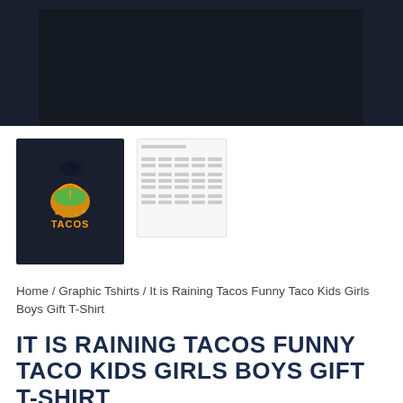[Figure (photo): Black t-shirt product main image shown at top, partially cropped]
[Figure (photo): Thumbnail of black t-shirt with 'It's Raining Tacos' graphic design]
[Figure (table-as-image): Size chart thumbnail showing measurement table]
Home / Graphic Tshirts / It is Raining Tacos Funny Taco Kids Girls Boys Gift T-Shirt
IT IS RAINING TACOS FUNNY TACO KIDS GIRLS BOYS GIFT T-SHIRT
Was $19.99 - check current price
Check Out It is Raining Tacos Funny Taco Kids Girls Boys